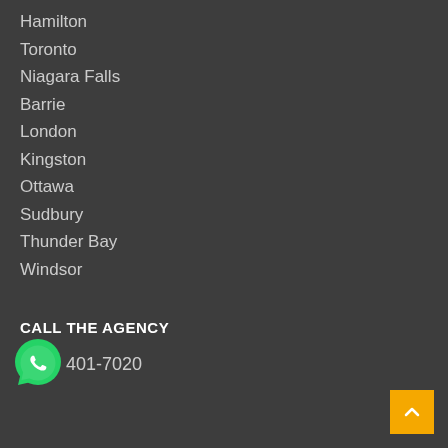Hamilton
Toronto
Niagara Falls
Barrie
London
Kingston
Ottawa
Sudbury
Thunder Bay
Windsor
CALL THE AGENCY
401-7020